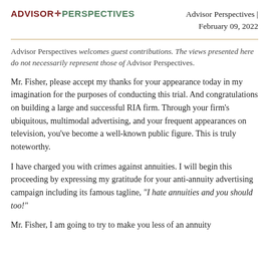ADVISOR PERSPECTIVES | Advisor Perspectives | February 09, 2022
Advisor Perspectives welcomes guest contributions. The views presented here do not necessarily represent those of Advisor Perspectives.
Mr. Fisher, please accept my thanks for your appearance today in my imagination for the purposes of conducting this trial. And congratulations on building a large and successful RIA firm. Through your firm's ubiquitous, multimodal advertising, and your frequent appearances on television, you've become a well-known public figure. This is truly noteworthy.
I have charged you with crimes against annuities. I will begin this proceeding by expressing my gratitude for your anti-annuity advertising campaign including its famous tagline, “I hate annuities and you should too!”
Mr. Fisher, I am going to try to make you less of an annuity